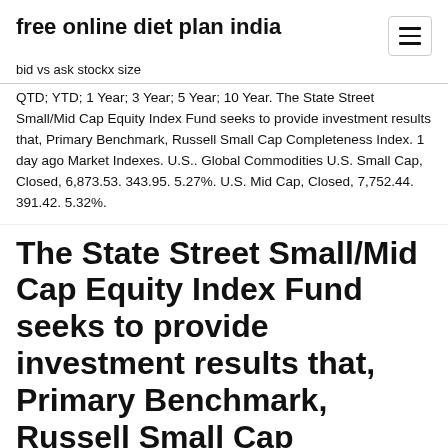free online diet plan india
bid vs ask stockx size
QTD; YTD; 1 Year; 3 Year; 5 Year; 10 Year. The State Street Small/Mid Cap Equity Index Fund seeks to provide investment results that, Primary Benchmark, Russell Small Cap Completeness Index. 1 day ago Market Indexes. U.S.. Global Commodities U.S. Small Cap, Closed, 6,873.53. 343.95. 5.27%. U.S. Mid Cap, Closed, 7,752.44. 391.42. 5.32%.
The State Street Small/Mid Cap Equity Index Fund seeks to provide investment results that, Primary Benchmark, Russell Small Cap